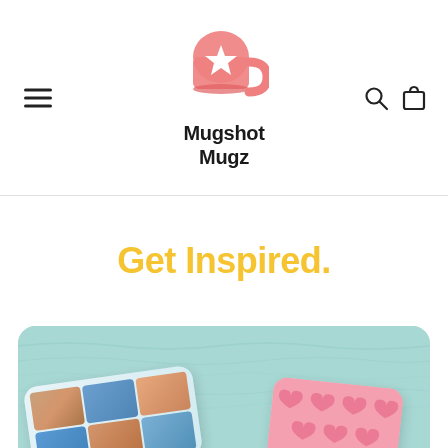[Figure (logo): Mugshot Mugz logo: pink mug with a white star, bold text 'Mugshot Mugz' below]
Get Inspired.
[Figure (photo): Photo of two decorative pillows/cushions on a light teal/seafoam textured surface. Left cushion has a photo collage print; right cushion is pink with heart pattern.]